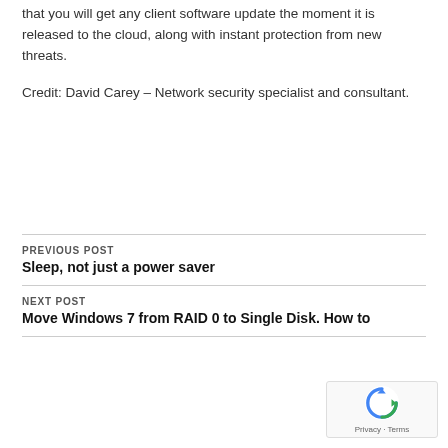that you will get any client software update the moment it is released to the cloud, along with instant protection from new threats.
Credit: David Carey – Network security specialist and consultant.
PREVIOUS POST
Sleep, not just a power saver
NEXT POST
Move Windows 7 from RAID 0 to Single Disk. How to